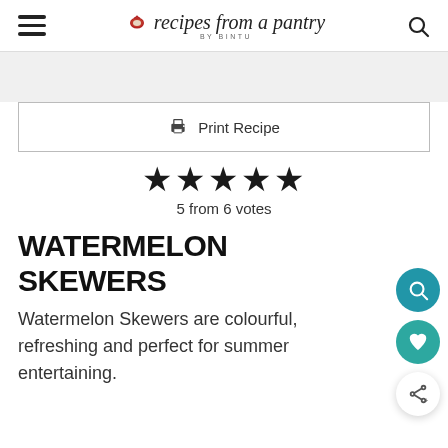recipes from a pantry BY BINTU
[Figure (screenshot): Print Recipe button with printer icon inside a bordered box]
★★★★★
5 from 6 votes
WATERMELON SKEWERS
Watermelon Skewers are colourful, refreshing and perfect for summer entertaining.